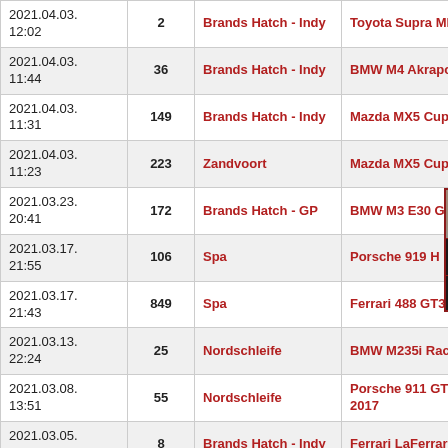| Date | # | Track | Car |
| --- | --- | --- | --- |
| 2021.04.03. 12:02 | 2 | Brands Hatch - Indy | Toyota Supra MKIV Dri… |
| 2021.04.03. 11:44 | 36 | Brands Hatch - Indy | BMW M4 Akrapovic |
| 2021.04.03. 11:31 | 149 | Brands Hatch - Indy | Mazda MX5 Cup |
| 2021.04.03. 11:23 | 223 | Zandvoort | Mazda MX5 Cup |
| 2021.03.23. 20:41 | 172 | Brands Hatch - GP | BMW M3 E30 Gr.A 92… |
| 2021.03.17. 21:55 | 106 | Spa | Porsche 919 H… |
| 2021.03.17. 21:43 | 849 | Spa | Ferrari 488 GT3… |
| 2021.03.13. 22:24 | 25 | Nordschleife | BMW M235i Racing… |
| 2021.03.08. 13:51 | 55 | Nordschleife | Porsche 911 GT3 Cup 2017 |
| 2021.03.05. 17:20 | 8 | Brands Hatch - Indy | Ferrari LaFerrari |
| 2021.03.05. 17:04 | 15 | Brands Hatch - Indy | BMW M235i Racing |
| 2021.03.03. 09:58 | 8 | Brands Hatch - Indy | Lotus Exige 240R Stage… |